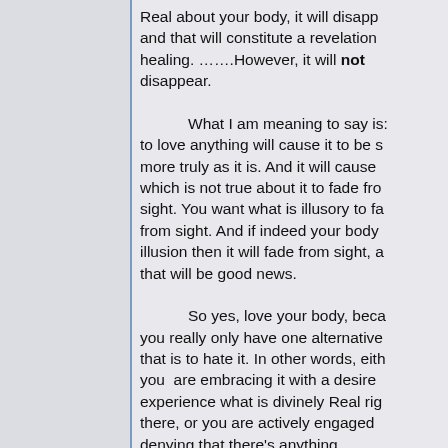Real about your body, it will disappear and that will constitute a revelation healing. …….However, it will not disappear.

What I am meaning to say is: to love anything will cause it to be seen more truly as it is. And it will cause what which is not true about it to fade from sight. You want what is illusory to fade from sight. And if indeed your body is illusion then it will fade from sight, and that will be good news.

So yes, love your body, because you really only have one alternative and that is to hate it. In other words, either you are embracing it with a desire to experience what is divinely Real right there, or you are actively engaged in denying that there's anything there. Denial, especially if you are